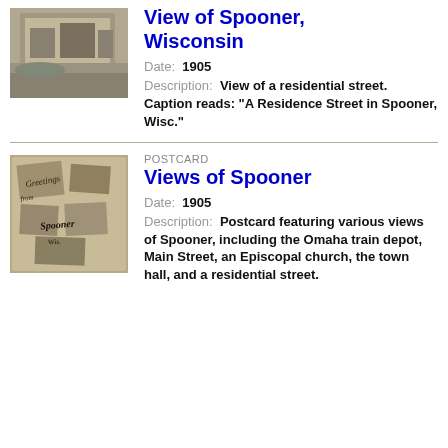[Figure (photo): Black and white historical photo of a residential street in Spooner, Wisconsin, showing buildings near water]
View of Spooner, Wisconsin
Date: 1905
Description: View of a residential street. Caption reads: "A Residence Street in Spooner, Wisc."
[Figure (photo): Sepia postcard with text 'Greetings from Spooner Wis' featuring multiple small views of Spooner]
POSTCARD
Views of Spooner
Date: 1905
Description: Postcard featuring various views of Spooner, including the Omaha train depot, Main Street, an Episcopal church, the town hall, and a residential street.